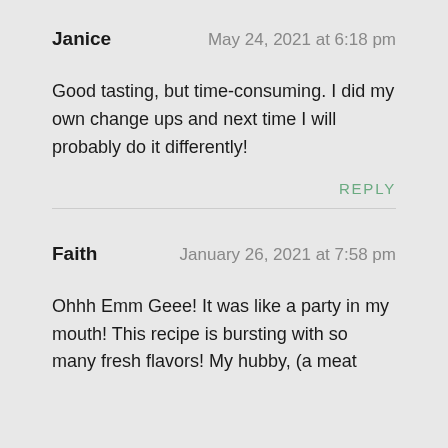Janice   May 24, 2021 at 6:18 pm
Good tasting, but time-consuming. I did my own change ups and next time I will probably do it differently!
REPLY
Faith   January 26, 2021 at 7:58 pm
Ohhh Emm Geee! It was like a party in my mouth! This recipe is bursting with so many fresh flavors! My hubby, (a meat